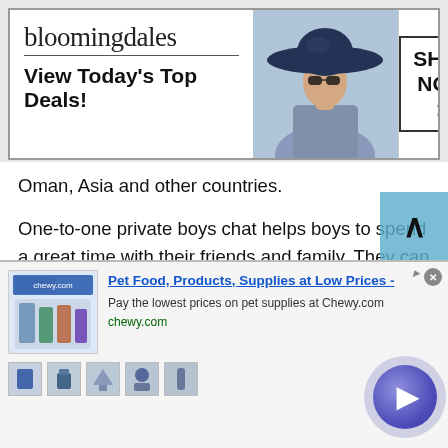[Figure (screenshot): Bloomingdale's advertisement banner with logo, 'View Today's Top Deals!' text, woman in hat image, and 'SHOP NOW >' button in box]
Oman, Asia and other countries.
One-to-one private boys chat helps boys to spend a great time with their friends and family. They can choose to talk to strangers in Oman on their favorite topics and have a healthy discussion without experiencing any signup hassle. Yes, you will not experience any trouble while chatting online via boys chat. TWS always commits to make things easier for their users. So, why not join TWS fre
[Figure (screenshot): Chewy.com advertisement: 'Pet Food, Products, Supplies at Low Prices -' with description 'Pay the lowest prices on pet supplies at Chewy.com', chewy.com URL, product thumbnails, and a navigation circle button]